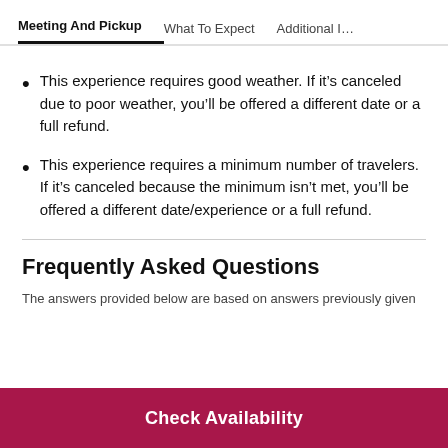Meeting And Pickup | What To Expect | Additional I…
This experience requires good weather. If it's canceled due to poor weather, you'll be offered a different date or a full refund.
This experience requires a minimum number of travelers. If it's canceled because the minimum isn't met, you'll be offered a different date/experience or a full refund.
Frequently Asked Questions
The answers provided below are based on answers previously given